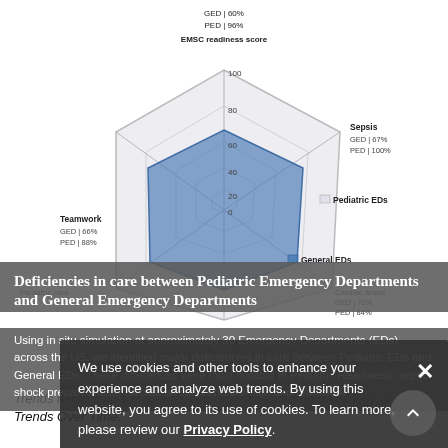[Figure (radar-chart): Radar chart comparing Pediatric EDs and General EDs across dimensions: EMSC readiness score (GED 60%, PED 96%), Teamwork (GED 66%, PED 88%), Sepsis (GED 67%, PED 100%), Foreign body, Pediatric care, Cardiac arrest (GED 70%, PED 84%), and another axis (GED 52%, PED 71%). Pediatric EDs shown in light gray polygon, General EDs in blue polygon.]
Deficiencies in care between Pediatric Emergency Departments and General Emergency Departments
Using in situ simulation at approximately 30 Emergency Departments (EDs) across the US, we identified major deficiencies in care between Pediatric EDs and General EDs. These differences were most notable in Pediatric Readiness, septic shock preparedness, cardiac arrest preparedness, and teamwork
Selected Publications
We use cookies and other tools to enhance your experience and analyze web trends. By using this website, you agree to its use of cookies. To learn more, please review our Privacy Policy.
Trends in Care for Children in The United States: Epidemiology and Trends Over Time.